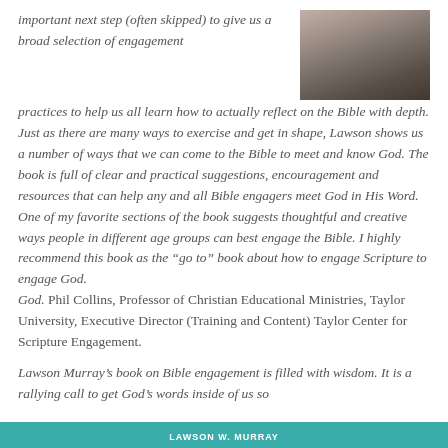important next step (often skipped) to give us a broad selection of engagement practices to help us all learn how to actually reflect on the Bible with depth. Just as there are many ways to exercise and get in shape, Lawson shows us a number of ways that we can come to the Bible to meet and know God. The book is full of clear and practical suggestions, encouragement and resources that can help any and all Bible engagers meet God in His Word. One of my favorite sections of the book suggests thoughtful and creative ways people in different age groups can best engage the Bible. I highly recommend this book as the “go to” book about how to engage Scripture to engage God. Phil Collins, Professor of Christian Educational Ministries, Taylor University, Executive Director (Training and Content) Taylor Center for Scripture Engagement.
[Figure (photo): Book cover showing a person from behind with teal/turquoise band at the bottom reading LAWSON W. MURRAY]
Lawson Murray’s book on Bible engagement is filled with wisdom. It is a rallying call to get God’s words inside of us so